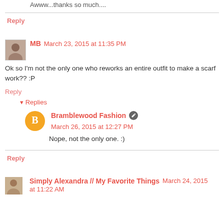Awww...thanks so much....
Reply
MB  March 23, 2015 at 11:35 PM
Ok so I'm not the only one who reworks an entire outfit to make a scarf work?? :P
Reply
Replies
Bramblewood Fashion  March 26, 2015 at 12:27 PM
Nope, not the only one. :)
Reply
Simply Alexandra // My Favorite Things  March 24, 2015 at 11:22 AM